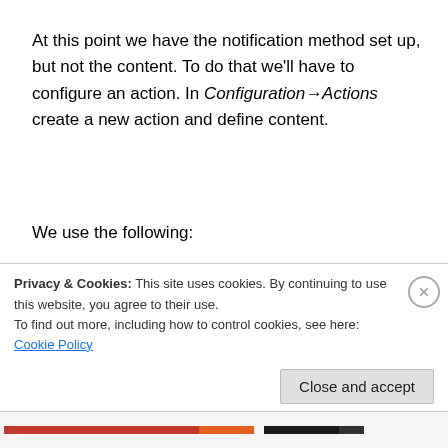At this point we have the notification method set up, but not the content. To do that we'll have to configure an action. In Configuration→Actions create a new action and define content.
We use the following:
[Figure (screenshot): Code block showing 4 lines: 1. Name: Report problems to IRC, 2. Default subject: {TRIGGER.STATUS}: {TR, 3. Default message:, 4. Recovery subject: {TRIGGER.STATUS}: {T — with green vertical bar on left and line numbers]
Privacy & Cookies: This site uses cookies. By continuing to use this website, you agree to their use.
To find out more, including how to control cookies, see here: Cookie Policy
Close and accept